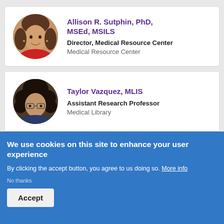[Figure (photo): Circular headshot of Allison R. Sutphin, a woman with dark hair smiling, wearing red]
Allison R. Sutphin, PhD, MSEd, MSILS
Director, Medical Resource Center
Medical Resource Center
[Figure (photo): Circular headshot of Taylor Vazquez, a woman with curly dark hair wearing glasses]
Taylor Vazquez, MLIS
Assistant Research Professor
Medical Library
We use cookies on this site to enhance your user experience
By clicking the accept button, you agree to us doing so. More info
No thanks
Accept